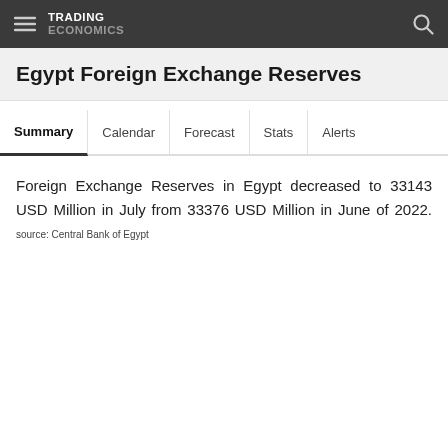TRADING ECONOMICS
Egypt Foreign Exchange Reserves
Summary  Calendar  Forecast  Stats  Alerts
Foreign Exchange Reserves in Egypt decreased to 33143 USD Million in July from 33376 USD Million in June of 2022. source: Central Bank of Egypt